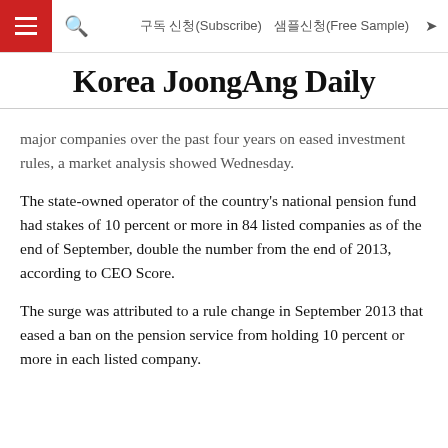구독 신청(Subscribe)  샘플신청(Free Sample)
Korea JoongAng Daily
major companies over the past four years on eased investment rules, a market analysis showed Wednesday.
The state-owned operator of the country's national pension fund had stakes of 10 percent or more in 84 listed companies as of the end of September, double the number from the end of 2013, according to CEO Score.
The surge was attributed to a rule change in September 2013 that eased a ban on the pension service from holding 10 percent or more in each listed company.